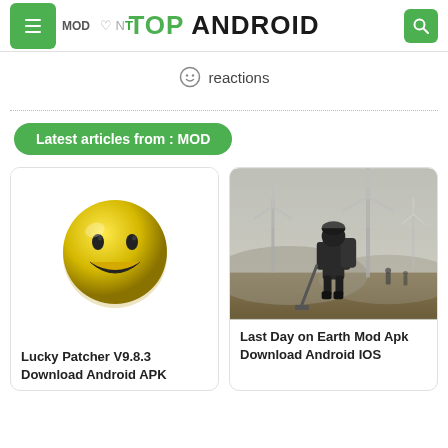TOP ANDROID
reactions
Latest articles from : MOD
[Figure (illustration): Yellow smiley face ball icon for Lucky Patcher app]
Lucky Patcher V9.8.3 Download Android APK
[Figure (photo): Post-apocalyptic game screenshot: soldier from behind holding shovel, wind turbines, zombies in background - Last Day on Earth]
Last Day on Earth Mod Apk Download Android IOS